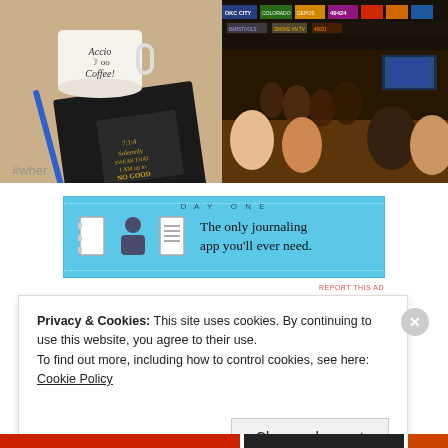[Figure (photo): Left photo: coffee mug labeled 'Accio Coffee' with glasses symbol, alongside a black notebook/journal and a blue pen on a table. Text '#wher' partially visible.]
[Figure (photo): Right photo: Interior of a crowded sports bar with colorful scoreboards/signs overhead, many patrons seated at tables, warm lighting, TV screens visible.]
[Figure (screenshot): Advertisement banner for 'Day One' journaling app on blue background with dotted border. Icons of a notebook, person, and notepad. Text: 'DAY ONE - The only journaling app you'll ever need.' with 'REPORT THIS AD' label below.]
Privacy & Cookies: This site uses cookies. By continuing to use this website, you agree to their use.
To find out more, including how to control cookies, see here: Cookie Policy
Close and accept